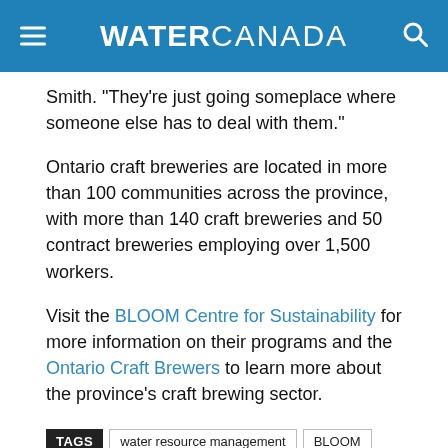WATER CANADA
Smith. “They’re just going someplace where someone else has to deal with them.”
Ontario craft breweries are located in more than 100 communities across the province, with more than 140 craft breweries and 50 contract breweries employing over 1,500 workers.
Visit the BLOOM Centre for Sustainability for more information on their programs and the Ontario Craft Brewers to learn more about the province’s craft brewing sector.
TAGS: water resource management, BLOOM, beer, breweries, craft beer